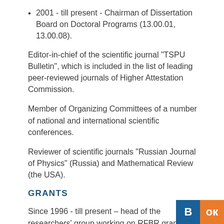2001 - till present - Chairman of Dissertation Board on Doctoral Programs (13.00.01, 13.00.08).
Editor-in-chief of the scientific journal “TSPU Bulletin”, which is included in the list of leading peer-reviewed journals of Higher Attestation Commission.
Member of Organizing Committees of a number of national and international scientific conferences.
Reviewer of scientific journals “Russian Journal of Physics” (Russia) and Mathematical Review (the USA).
GRANTS
Since 1996 - till present – head of the researchers’ group working on RFBR grant in Mathematics. Executor of RFBR grants in Physics, programme “Universities of Russia” and presidential programme of